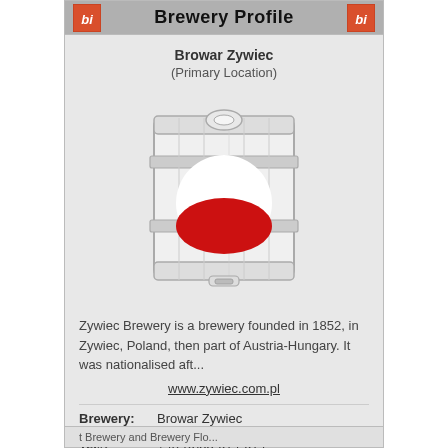Brewery Profile
Browar Zywiec
(Primary Location)
[Figure (illustration): A beer keg/barrel illustration with the Polish flag (white top half, red bottom half circle) displayed on its front face.]
Zywiec Brewery is a brewery founded in 1852, in Zywiec, Poland, then part of Austria-Hungary. It was nationalised aft...
www.zywiec.com.pl
Brewery:  Browar Zywiec
Tel#:        +48-(0)33-614-614
t Brewery and Brewery Flo...